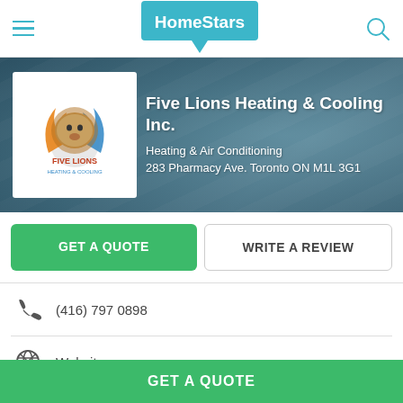HomeStars
[Figure (screenshot): Five Lions Heating & Cooling Inc. company logo with lion graphic]
Five Lions Heating & Cooling Inc.
Heating & Air Conditioning
283 Pharmacy Ave. Toronto ON M1L 3G1
GET A QUOTE
WRITE A REVIEW
(416) 797 0898
Website
HomeStars > Heating & Air Conditioning > Five Lions Heating & Cooling Inc.
GET A QUOTE